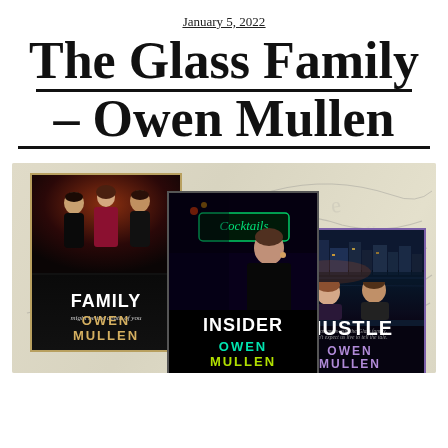January 5, 2022
The Glass Family – Owen Mullen
[Figure (illustration): Three book covers by Owen Mullen: 'Family', 'Insider', and 'Hustle', overlaid on a blurred handwritten letter background. Family cover shows three people in formal wear with gold border. Insider cover shows a woman in front of a cocktails bar with glowing neon text. Hustle cover shows two people with a city skyline and purple border.]